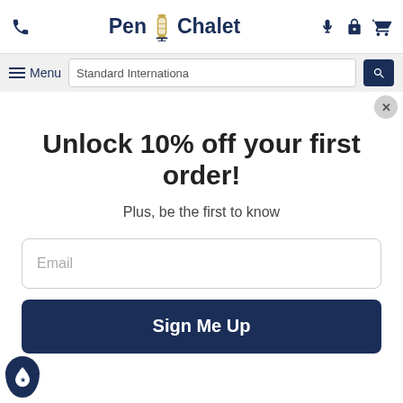Pen Chalet — Menu | Standard Internationa [search]
Unlock 10% off your first order!
Plus, be the first to know
Email
Sign Me Up